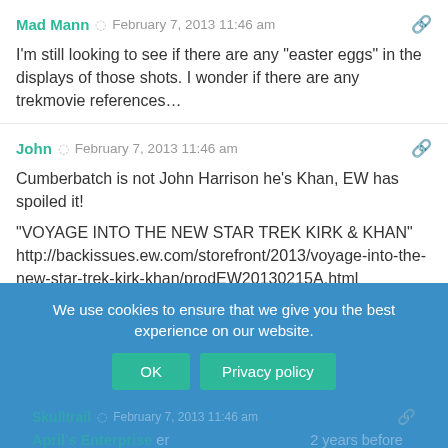Mad Mann  February 7, 2013 11:46 am
I'm still looking to see if there are any "easter eggs" in the displays of those shots. I wonder if there are any trekmovie references…
John  February 7, 2013 11:46 am
Cumberbatch is not John Harrison he's Khan, EW has spoiled it!

"VOYAGE INTO THE NEW STAR TREK KIRK & KHAN"
http://backissues.ew.com/storefront/2013/voyage-into-the-new-star-trek-kirk-khan/prodEW20130215A.html
We use cookies to ensure that we give you the best experience on our website.
Skulltrail  February 7, 2013 11:46 am
April's Enterprise  er  2 years before and Kirk got the new one but April was thought to be